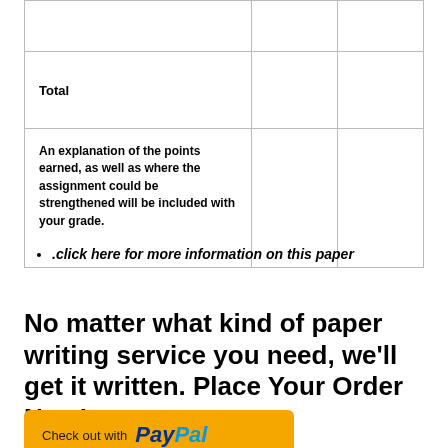|  |  |  |
| --- | --- | --- |
|  |  |  |
| Total |  |  |
| An explanation of the points earned, as well as where the assignment could be strengthened will be included with your grade. |  |  |
.click here for more information on this paper
No matter what kind of paper writing service you need, we'll get it written. Place Your Order Now!
[Figure (other): PayPal checkout button — yellow button with 'Check out with PayPal' text]